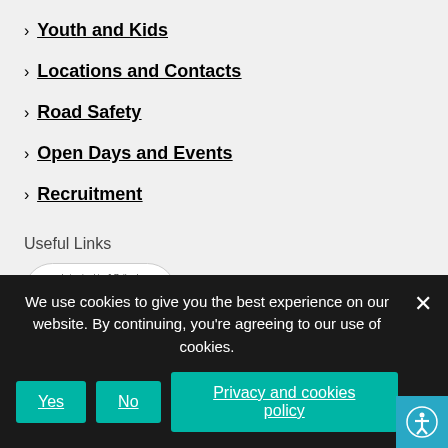Youth and Kids
Locations and Contacts
Road Safety
Open Days and Events
Recruitment
Useful Links
[Figure (logo): Leicestershire & Rutland Crimestoppers logo with phone number 0800 555 111]
We use cookies to give you the best experience on our website. By continuing, you're agreeing to our use of cookies.
Yes
No
Privacy and cookies policy